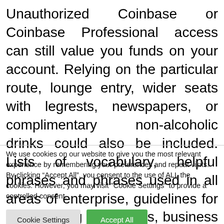Unauthorized Coinbase or Coinbase Professional access can still value you funds on your account. Relying on the particular route, lounge entry, wider seats with legrests, newspapers, or complimentary non-alcoholic drinks could also be included. Lists of vocabulary, helpful phrases and phrases used in all areas of enterprise, guidelines for letter-writing and shows, business dialog matters, workouts, idioms and phrase video games.
We use cookies on our website to give you the most relevant experience by remembering your preferences and repeat visits. By clicking “Accept All”, you consent to the use of ALL the cookies. However, you may visit "Cookie Settings" to provide a controlled consent.